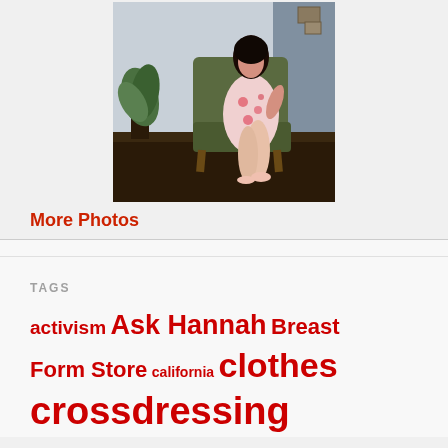[Figure (photo): A woman in a floral dress sitting in an armchair in an interior setting with a plant in the background]
More Photos
TAGS
activism Ask Hannah Breast Form Store california clothes crossdressing...